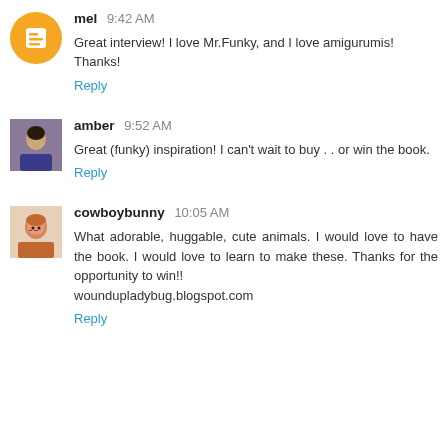mel 9:42 AM
Great interview! I love Mr.Funky, and I love amigurumis! Thanks!
Reply
amber 9:52 AM
Great (funky) inspiration! I can't wait to buy . . or win the book.
Reply
cowboybunny 10:05 AM
What adorable, huggable, cute animals. I would love to have the book. I would love to learn to make these. Thanks for the opportunity to win!! woundupladybug.blogspot.com
Reply